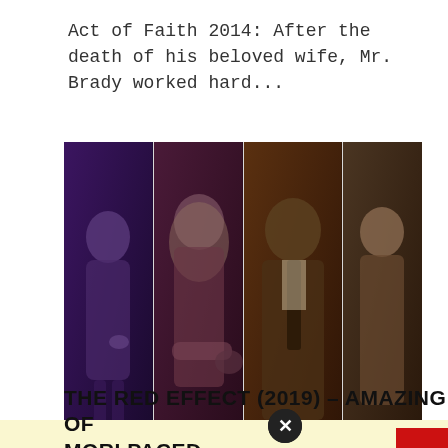Act of Faith 2014: After the death of his beloved wife, Mr. Brady worked hard...
[Figure (photo): Movie promotional image showing four characters in a panel strip with purple and dark tones, followed by a red banner reading 'The Red Effect']
The Red Effect
THE RED EFFECT (2019) – AMAZING OF MORI PACED